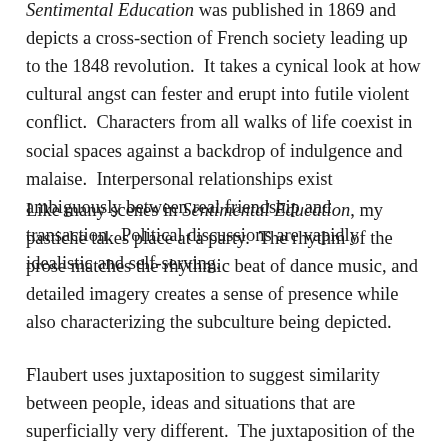Sentimental Education was published in 1869 and depicts a cross-section of French society leading up to the 1848 revolution.  It takes a cynical look at how cultural angst can fester and erupt into futile violent conflict.  Characters from all walks of life coexist in social spaces against a backdrop of indulgence and malaise.  Interpersonal relationships exist ambiguously between real friendship and transaction.  Political discussions are vapidly idealistic and self-serving.
Like many scenes in Sentimental Education, my pastiche takes place at a party.  The rhythm of the prose matches the rhythmic beat of dance music, and detailed imagery creates a sense of presence while also characterizing the subculture being depicted.
Flaubert uses juxtaposition to suggest similarity between people, ideas and situations that are superficially very different.  The juxtaposition of the chaotic insufflation